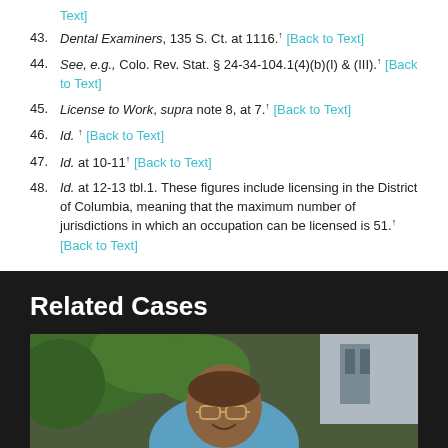Text] (partial, continuation from previous page)
43. Dental Examiners, 135 S. Ct. at 1116. [Back to Text]
44. See, e.g., Colo. Rev. Stat. § 24-34-104.1(4)(b)(I) & (III). [Back to Text]
45. License to Work, supra note 8, at 7. [Back to Text]
46. Id. [Back to Text]
47. Id. at 10-11 [Back to Text]
48. Id. at 12-13 tbl.1. These figures include licensing in the District of Columbia, meaning that the maximum number of jurisdictions in which an occupation can be licensed is 51. [Back to Text]
Related Cases
[Figure (photo): Portrait photo of a person smiling outdoors, wearing glasses and a light blue jacket, with green foliage and a building in the background.]